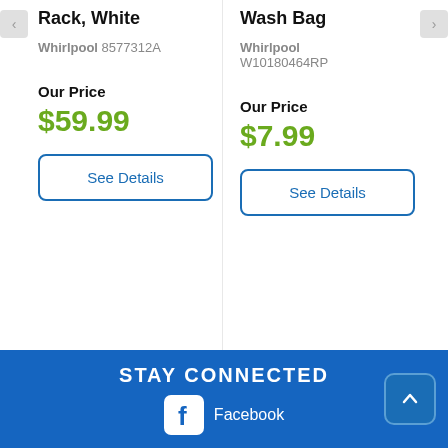Rack, White
Whirlpool 8577312A
Our Price
$59.99
See Details
Wash Bag
Whirlpool W10180464RP
Our Price
$7.99
See Details
STAY CONNECTED Facebook